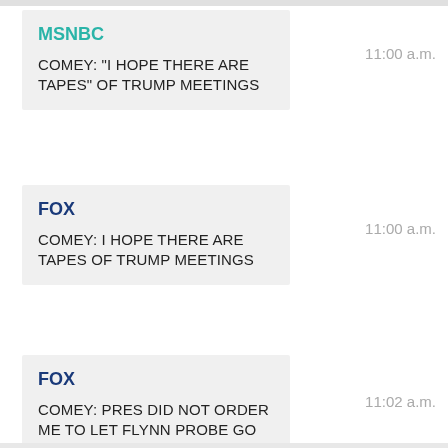MSNBC — 11:00 a.m. — COMEY: "I HOPE THERE ARE TAPES" OF TRUMP MEETINGS
FOX — 11:00 a.m. — COMEY: I HOPE THERE ARE TAPES OF TRUMP MEETINGS
FOX — 11:02 a.m. — COMEY: PRES DID NOT ORDER ME TO LET FLYNN PROBE GO